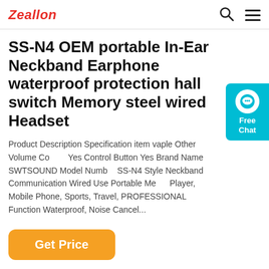Zeallon
SS-N4 OEM portable In-Ear Neckband Earphone waterproof protection hall switch Memory steel wired Headset
Product Description Specification item vaple Other Volume Control Yes Control Button Yes Brand Name SWTSOUND Model Number SS-N4 Style Neckband Communication Wired Use Portable Media Player, Mobile Phone, Sports, Travel, PROFESSIONAL Function Waterproof, Noise Cancel...
[Figure (other): Orange 'Get Price' button]
[Figure (photo): Partial product image of neckband earphone at bottom of page]